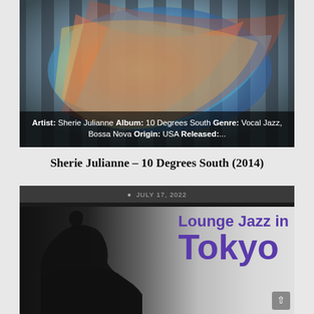[Figure (photo): Colorful blurred photo of a person with flowing colorful fabric, possibly dancing outdoors. Dark wooden fence in background.]
Artist: Sherie Julianne Album: 10 Degrees South Genre: Vocal Jazz, Bossa Nova Origin: USA Released:...
Sherie Julianne – 10 Degrees South (2014)
JULY 17, 2022
[Figure (photo): Black and white photo of a woman in profile silhouette, with large purple text reading 'Lounge Jazz in Tokyo' overlaid.]